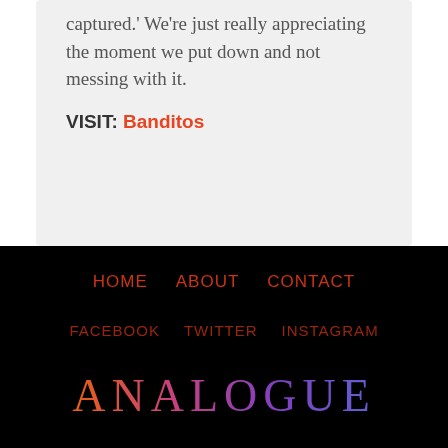captured.' We're just really appreciating the moment we put down and not messing with it.
VISIT: Banditos
HOME   ABOUT   CONTACT
FACEBOOK   TWITTER   INSTAGRAM
ANALOGUE